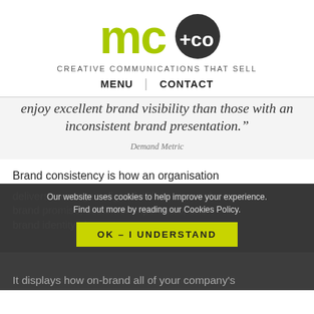[Figure (logo): mc+co logo: 'mc' in lime green and '+co' in white on dark circle]
CREATIVE COMMUNICATIONS THAT SELL
MENU | CONTACT
enjoy excellent brand visibility than those with an inconsistent brand presentation."
Demand Metric
Brand consistency is how an organisation delivers messages aligned with its core values, brand promise, customer experience, and brand identity elements.
Our website uses cookies to help improve your experience. Find out more by reading our Cookies Policy.
OK – I UNDERSTAND
It displays how on-brand all of your company's